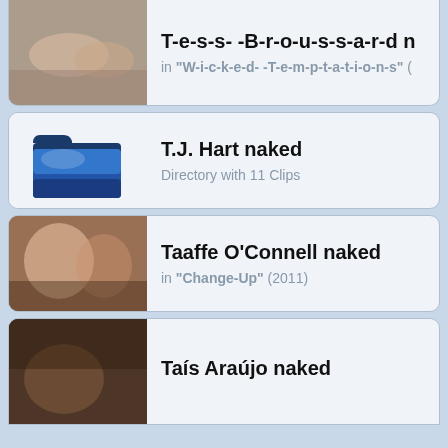Tess Broussard naked in "Wicked Temptations"
T.J. Hart naked — Directory with 11 Clips
Taaffe O'Connell naked in "Change-Up" (2011)
Taís Araújo naked